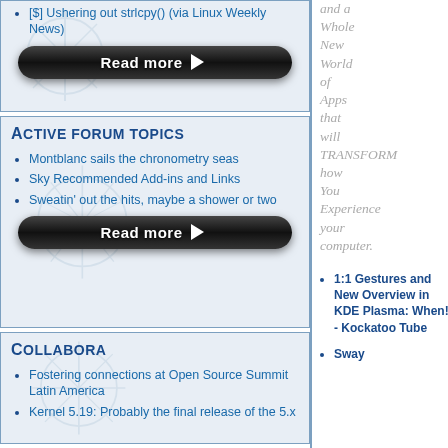[$] Ushering out strlcpy() (via Linux Weekly News)
Read more ▶
Active Forum Topics
Montblanc sails the chronometry seas
Sky Recommended Add-ins and Links
Sweatin' out the hits, maybe a shower or two
Read more ▶
Collabora
Fostering connections at Open Source Summit Latin America
Kernel 5.19: Probably the final release of the 5.x
and a Whole New World of Apps that will TRANSFORM how You Experience your computer.
1:1 Gestures and New Overview in KDE Plasma: When!? - Kockatoo Tube
Sway